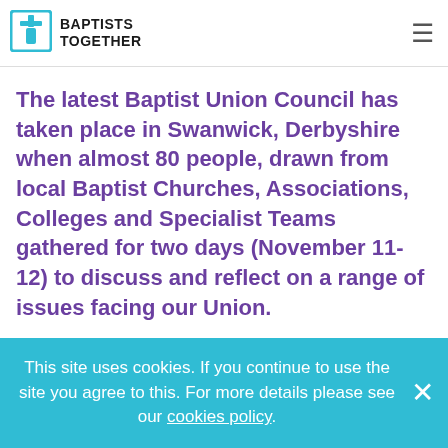BAPTISTS TOGETHER
The latest Baptist Union Council has taken place in Swanwick, Derbyshire when almost 80 people, drawn from local Baptist Churches, Associations, Colleges and Specialist Teams gathered for two days (November 11-12) to discuss and reflect on a range of issues facing our Union.
Prayer and reflection
This site uses cookies. If you continue to use the site you agree to this. For more details please see our cookies policy.